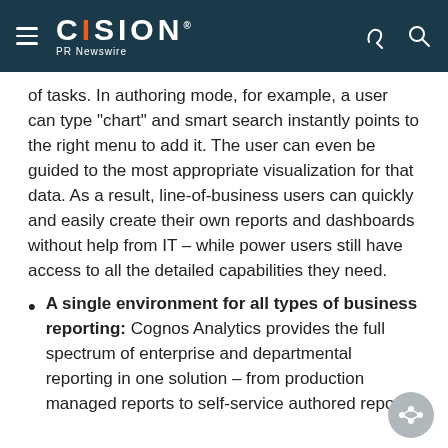CISION PR Newswire
of tasks. In authoring mode, for example, a user can type "chart" and smart search instantly points to the right menu to add it. The user can even be guided to the most appropriate visualization for that data. As a result, line-of-business users can quickly and easily create their own reports and dashboards without help from IT – while power users still have access to all the detailed capabilities they need.
A single environment for all types of business reporting: Cognos Analytics provides the full spectrum of enterprise and departmental reporting in one solution – from production managed reports to self-service authored reports